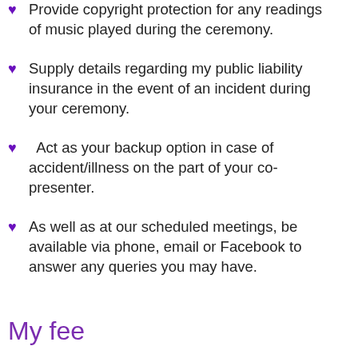Provide copyright protection for any readings of music played during the ceremony.
Supply details regarding my public liability insurance in the event of an incident during your ceremony.
Act as your backup option in case of accident/illness on the part of your co-presenter.
As well as at our scheduled meetings, be available via phone, email or Facebook to answer any queries you may have.
My fee
When co-presenting a wedding ceremony with me, I charge my usual fee for both my “Elopement” and my “Love Is In the Air” wedding package. As you can see